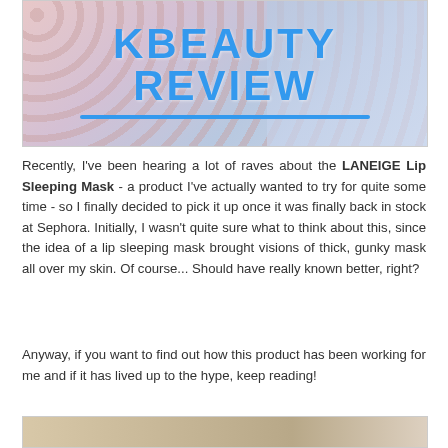[Figure (photo): Hero banner image with 'KBEAUTY REVIEW' text overlaid in large blue bold uppercase letters with a blue underline, over a pink/lavender/blue gradient background with textured pattern]
Recently, I've been hearing a lot of raves about the LANEIGE Lip Sleeping Mask - a product I've actually wanted to try for quite some time - so I finally decided to pick it up once it was finally back in stock at Sephora. Initially, I wasn't quite sure what to think about this, since the idea of a lip sleeping mask brought visions of thick, gunky mask all over my skin. Of course... Should have really known better, right?
Anyway, if you want to find out how this product has been working for me and if it has lived up to the hype, keep reading!
[Figure (photo): Partial image at bottom of page, appears to show a beauty product or person, cropped]